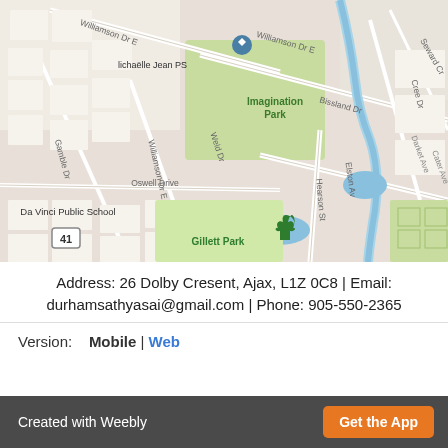[Figure (map): Google Maps screenshot showing the area around Gillett Park in Ajax, Ontario, Canada. Visible landmarks include Michaëlle Jean PS, Da Vinci Public School, Imagination Park, Gillett Park with a green tree pin marker, and streets including Williamson Dr E, Gamble Dr, Bissland Dr, Weld Dr, Oswell Drive, Elston Av, Hearson St, Cree Dr, Seward Cr. Route 41 highway marker visible.]
Address: 26 Dolby Cresent, Ajax, L1Z 0C8 | Email: durhamsathyasai@gmail.com | Phone: 905-550-2365
Version:   Mobile | Web
Created with Weebly   Get the App